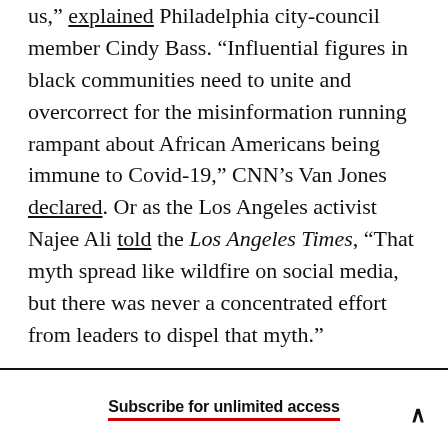us," explained Philadelphia city-council member Cindy Bass. “Influential figures in black communities need to unite and overcorrect for the misinformation running rampant about African Americans being immune to Covid-19,” CNN’s Van Jones declared. Or as the Los Angeles activist Najee Ali told the Los Angeles Times, “That myth spread like wildfire on social media, but there was never a concentrated effort from leaders to dispel that myth.”
Subscribe for unlimited access